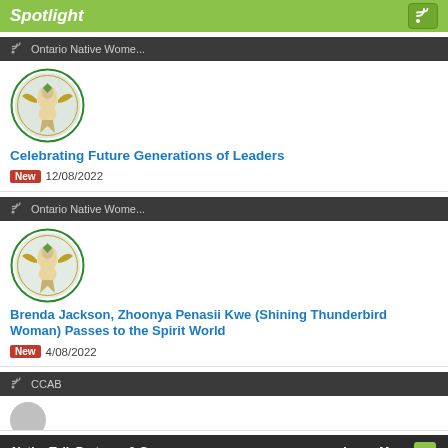Spotlight
Ontario Native Wome...
[Figure (logo): Ontario Native Women's Association circular logo with eagle figure]
Celebrating Future Generations of Leaders
New 12/08/2022
Ontario Native Wome...
[Figure (logo): Ontario Native Women's Association circular logo with eagle figure]
Brenda Jackson, Zhoonya Penasii Kwe (Shining Thunderbird Woman) Passes to the Spirit World
New 4/08/2022
CCAB
NationTalk Partners & Sponsors   Learn More →
[Figure (logo): Matrix360 logo]
[Figure (logo): Keepers of the Circle logo]